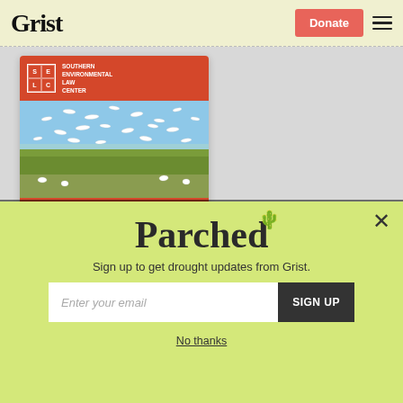Grist | Donate
[Figure (photo): SELC (Southern Environmental Law Center) advertisement card with orange header, photo of birds flying over a marsh/wetland, and partial text 'Solutions for a healthy']
[Figure (screenshot): Modal popup on yellow-green background with 'Parched' newsletter signup. Text: 'Sign up to get drought updates from Grist.' Email input field with 'Enter your email' placeholder and 'SIGN UP' button. 'No thanks' link below.]